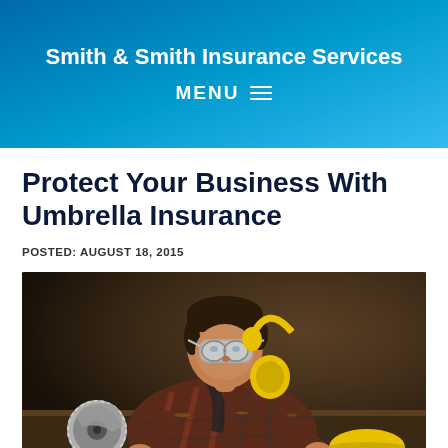Smith & Smith Insurance Services
MENU
Protect Your Business With Umbrella Insurance
POSTED: AUGUST 18, 2015
[Figure (photo): A worker wearing safety goggles and yellow ear protection headphones using a circular saw at a workbench in a workshop.]